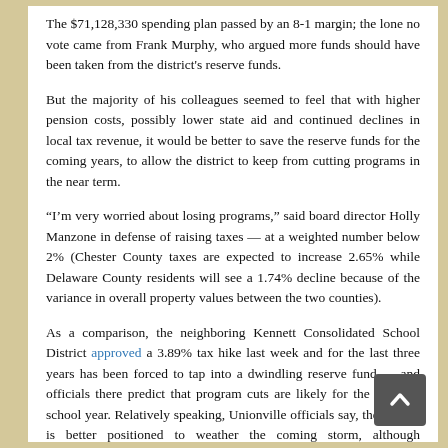The $71,128,330 spending plan passed by an 8-1 margin; the lone no vote came from Frank Murphy, who argued more funds should have been taken from the district's reserve funds.
But the majority of his colleagues seemed to feel that with higher pension costs, possibly lower state aid and continued declines in local tax revenue, it would be better to save the reserve funds for the coming years, to allow the district to keep from cutting programs in the near term.
“I’m very worried about losing programs,” said board director Holly Manzone in defense of raising taxes — at a weighted number below 2% (Chester County taxes are expected to increase 2.65% while Delaware County residents will see a 1.74% decline because of the variance in overall property values between the two counties).
As a comparison, the neighboring Kennett Consolidated School District approved a 3.89% tax hike last week and for the last three years has been forced to tap into a dwindling reserve fund — and officials there predict that program cuts are likely for the 2013-14 school year. Relatively speaking, Unionville officials say, the district is better positioned to weather the coming storm, although Superintendent of Schools John Sanville said last month that the district is more than anticipating...